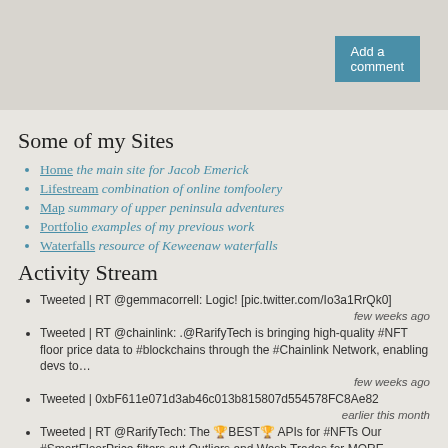Add a comment
Some of my Sites
Home  the main site for Jacob Emerick
Lifestream  combination of online tomfoolery
Map  summary of upper peninsula adventures
Portfolio  examples of my previous work
Waterfalls  resource of Keweenaw waterfalls
Activity Stream
Tweeted | RT @gemmacorrell: Logic! [pic.twitter.com/Io3a1RrQk0]
few weeks ago
Tweeted | RT @chainlink: .@RarifyTech is bringing high-quality #NFT floor price data to #blockchains through the #Chainlink Network, enabling devs to…
few weeks ago
Tweeted | 0xbF611e071d3ab46c013b815807d554578FC8Ae82
earlier this month
Tweeted | RT @RarifyTech: The 🏆BEST🏆 APIs for #NFTs Our #SmartFloorPrice filters out Outliers and Wash Trades for MORE Accurate #NFT Prices! Start